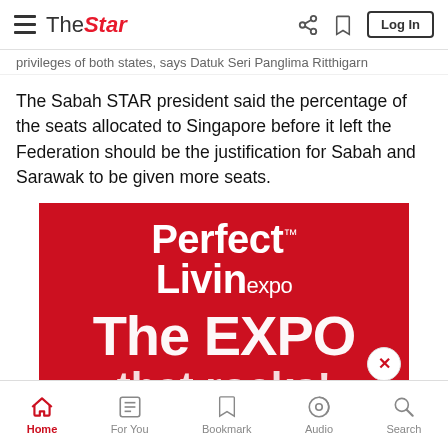The Star — navigation bar with hamburger menu, share, bookmark, Log In
privileges of both states, says Datuk Seri Panglima Ritthigarn
The Sabah STAR president said the percentage of the seats allocated to Singapore before it left the Federation should be the justification for Sabah and Sarawak to be given more seats.
[Figure (advertisement): Perfect Livin expo advertisement on red background with text: Perfect Livin expo, The EXPO, that rocks!]
Read unlimited content without ads. More info on our Premium Plan. >
Home | For You | Bookmark | Audio | Search